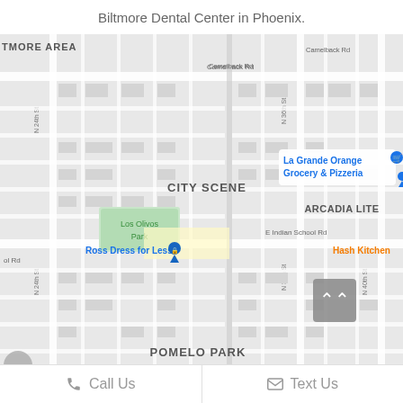Biltmore Dental Center in Phoenix.
[Figure (map): Google Maps view showing the area around Biltmore Dental Center in Phoenix, Arizona. Visible landmarks include La Grande Orange Grocery & Pizzeria, City Scene, Los Olivos Park, Ross Dress for Less, Hash Kitchen, Arcadia Lite, Pomelo Park, and street labels including Camelback Rd, E Indian School Rd, N 24th St, N 36th St, N 40th St.]
Call Us
Text Us